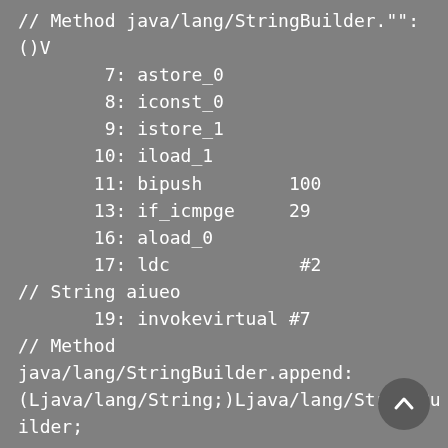// Method java/lang/StringBuilder."":()V
      7: astore_0
      8: iconst_0
      9: istore_1
     10: iload_1
     11: bipush        100
     13: if_icmpge     29
     16: aload_0
     17: ldc            #2
// String aiueo
     19: invokevirtual #7
// Method
java/lang/StringBuilder.append:(Ljava/lang/String;)Ljava/lang/StringBuilder;
     22: pop
     23: iinc          1, 1
     26: goto          10
     29: aload_0
[Figure (other): Scroll-to-top button (circular dark gray button with upward arrow)]